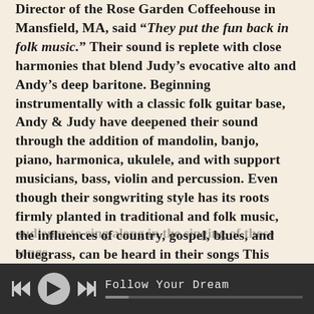Director of the Rose Garden Coffeehouse in Mansfield, MA, said “They put the fun back in folk music.” Their sound is replete with close harmonies that blend Judy’s evocative alto and Andy’s deep baritone. Beginning instrumentally with a classic folk guitar base, Andy & Judy have deepened their sound through the addition of mandolin, banjo, piano, harmonica, ukulele, and with support musicians, bass, violin and percussion. Even though their songwriting style has its roots firmly planted in traditional and folk music, the influences of country, gospel, blues, and bluegrass, can be heard in their songs This diversity of influences allow Andy & Judy to carefully craft and perform their songs so that the listener experiences all of the emotions woven into the music.
Singing as a community has always been an integral part of life in New England. Their music allows the
[Figure (other): Music player bar at bottom of screen showing skip-back, play, and skip-forward controls, song title 'Follow Your Dream' in monospace font, and a progress bar. Dark grey background.]